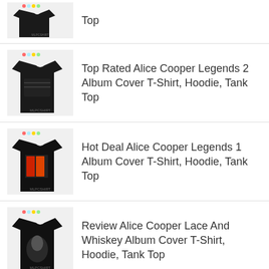Top
Top Rated Alice Cooper Legends 2 Album Cover T-Shirt, Hoodie, Tank Top
Hot Deal Alice Cooper Legends 1 Album Cover T-Shirt, Hoodie, Tank Top
Review Alice Cooper Lace And Whiskey Album Cover T-Shirt, Hoodie, Tank Top
TOP RATED
100 year of Green Bay Packers thank you for memories shirt, sweatshirt, premium t-shirt